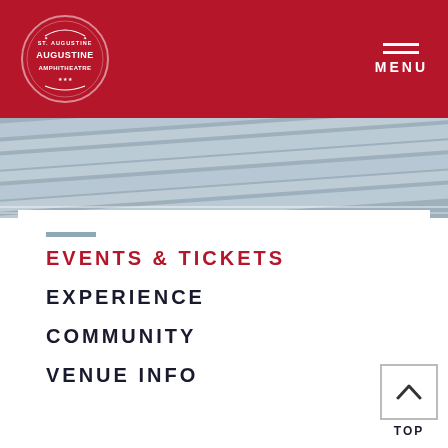[Figure (logo): St. Augustine Amphitheatre circular logo in white on red background]
MENU
[Figure (illustration): Gray striped diagonal band background]
EVENTS & TICKETS
EXPERIENCE
COMMUNITY
VENUE INFO
TOP